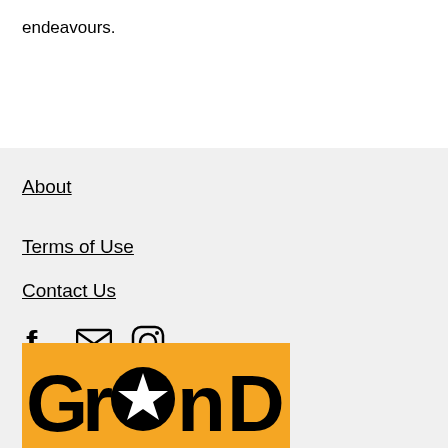endeavours.
About
Terms of Use
Contact Us
[Figure (illustration): Social media icons: Facebook, Email/Mail, Instagram]
[Figure (logo): Grand logo: orange background with black stylized text 'GranD' featuring a black circle with white star replacing the letter 'a']